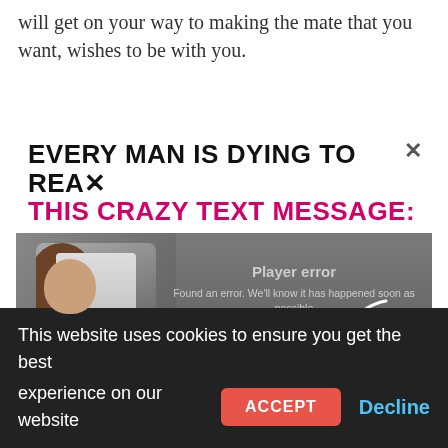will get on your way to making the mate that you want, wishes to be with you.
[Figure (screenshot): Advertisement banner: 'EVERY MAN IS DYING TO READ THIS CRAZY TEXT MESSAGE:' with a woman and a video player error overlay, arrow graphic, and 'CLICK THE PLAY BUTTON' text. Close X button in top right.]
This website uses cookies to ensure you get the best experience on our website  ACCEPT  Decline